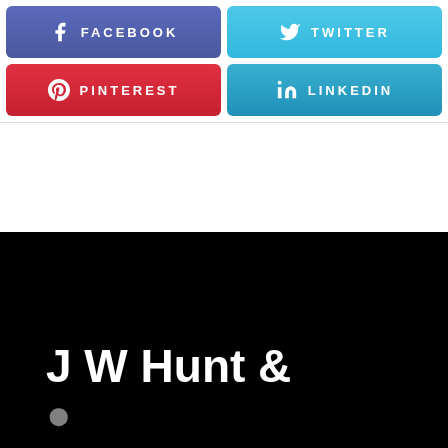[Figure (infographic): Social media share buttons: Facebook (purple/blue), Twitter (light blue), Pinterest (red), LinkedIn (light blue) arranged in a 2x2 grid]
[Figure (photo): Black background image with white bold text reading 'J W Hunt &' at the bottom left, partially cut off]